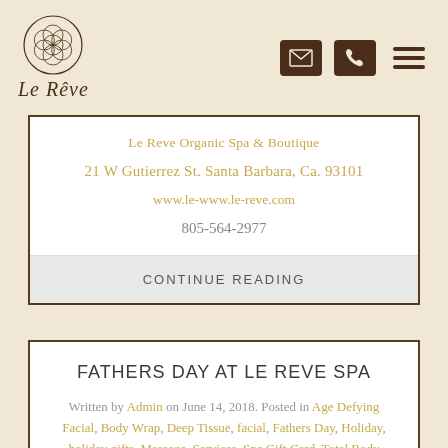Le Reve — header with logo and navigation icons
Le Reve Organic Spa & Boutique
21 W Gutierrez St. Santa Barbara, Ca. 93101
www.le-www.le-reve.com
805-564-2977
CONTINUE READING
FATHERS DAY AT LE REVE SPA
Written by Admin on June 14, 2018. Posted in Age Defying Facial, Body Wrap, Deep Tissue, facial, Fathers Day, Holiday, holiday gifts, Massage, Services, Spa Gift Card, Total Body Bliss